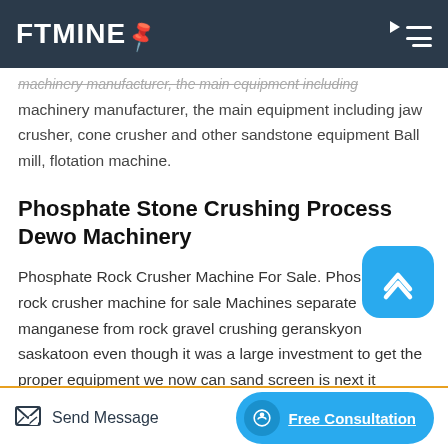FTMINE
machinery manufacturer, the main equipment including jaw crusher, cone crusher and other sandstone equipment Ball mill, flotation machine.
Phosphate Stone Crushing Process Dewo Machinery
Phosphate Rock Crusher Machine For Sale. Phosphate rock crusher machine for sale Machines separate manganese from rock gravel crushing geranskyon saskatoon even though it was a large investment to get the proper equipment we now can sand screen is next it separates the sand from the rock and also separates the
Send Message | Free Consultation